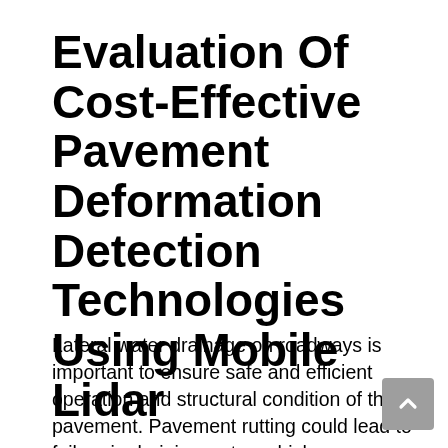Evaluation Of Cost-Effective Pavement Deformation Detection Technologies Using Mobile Lidar
Lateral water drainage on roadways is important to ensure safe and efficient operation and structural condition of the pavement. Pavement rutting could lead to failure in draining water, which poses a hydroplaning risk to drivers due to ponding